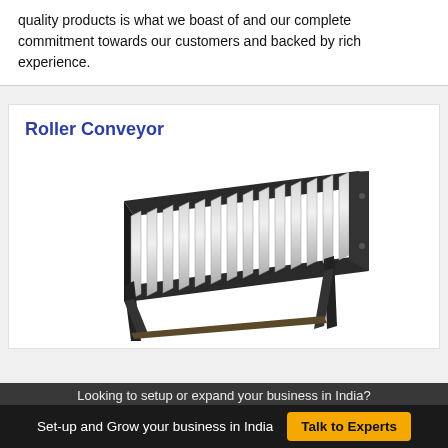quality products is what we boast of and our complete commitment towards our customers and backed by rich experience.
Roller Conveyor
[Figure (photo): A roller conveyor unit with grey cylindrical rollers mounted on a dark metal frame with adjustable legs]
Looking to setup or expand your business in India?
Set-up and Grow your business in India   Talk to Experts